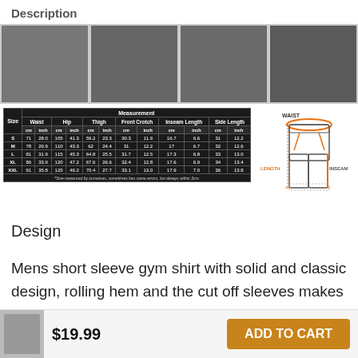Description
[Figure (photo): Four product photos of dark athletic shorts showing label, pocket, waistband, and fabric detail]
| Size | Waist cm | Waist inch | Hip cm | Hip inch | Thigh cm | Thigh inch | Front Crotch cm | Front Crotch inch | Inseam Length cm | Inseam Length inch | Side Length cm | Side Length inch |
| --- | --- | --- | --- | --- | --- | --- | --- | --- | --- | --- | --- | --- |
| S | 71 | 28.0 | 105 | 41.3 | 59.2 | 23.3 | 30.3 | 11.9 | 16.7 | 6.6 | 31 | 12.2 |
| M | 78 | 29.9 | 110 | 43.3 | 62 | 24.4 | 31 | 12.2 | 17 | 6.7 | 32 | 12.6 |
| L | 81 | 31.9 | 115 | 45.3 | 64.8 | 25.5 | 31.7 | 12.5 | 17.3 | 6.8 | 33 | 13.0 |
| XL | 86 | 33.9 | 120 | 47.2 | 67.6 | 26.6 | 32.4 | 12.8 | 17.6 | 6.9 | 34 | 13.4 |
| XXL | 91 | 35.8 | 125 | 49.2 | 70.4 | 27.7 | 33.1 | 13.0 | 17.9 | 7.0 | 36 | 13.8 |
*Size measured by ourselves, sometimes has some errors, but always within 3cm.
[Figure (illustration): Diagram of shorts showing WAIST, LENGTH, and INSEAM measurement labels with arrows]
Design
Mens short sleeve gym shirt with solid and classic design, rolling hem and the cut off sleeves makes
$19.99
ADD TO CART